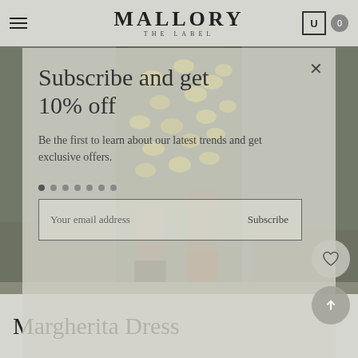MALLORY THE LABEL
[Figure (screenshot): E-commerce website screenshot showing a modal popup overlay on a product page. Background shows a person wearing a yellow lemon-print dress on cobblestone. A semi-transparent modal contains a subscription offer.]
Subscribe and get 10% off
Be the first to learn about our latest trends and get exclusive offers.
Your email address  Subscribe
Margherita Dress